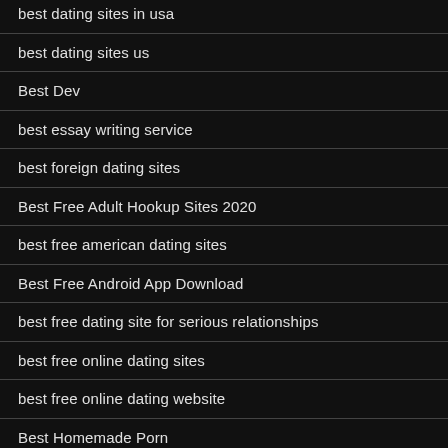best dating sites in usa
best dating sites us
Best Dev
best essay writing service
best foreign dating sites
Best Free Adult Hookup Sites 2020
best free american dating sites
Best Free Android App Download
best free dating site for serious relationships
best free online dating sites
best free online dating website
Best Homemade Porn
best hookup site 2018